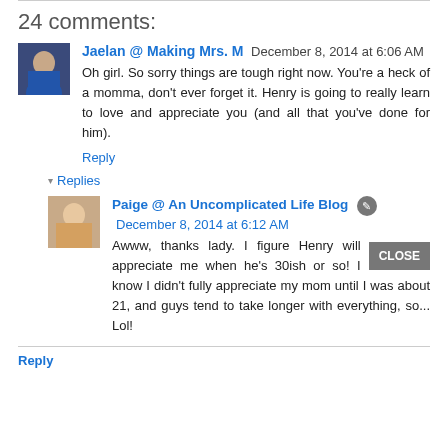24 comments:
Jaelan @ Making Mrs. M  December 8, 2014 at 6:06 AM
Oh girl. So sorry things are tough right now. You're a heck of a momma, don't ever forget it. Henry is going to really learn to love and appreciate you (and all that you've done for him).
Reply
▾ Replies
Paige @ An Uncomplicated Life Blog  December 8, 2014 at 6:12 AM
Awww, thanks lady. I figure Henry will appreciate me when he's 30ish or so! I know I didn't fully appreciate my mom until I was about 21, and guys tend to take longer with everything, so... Lol!
Reply